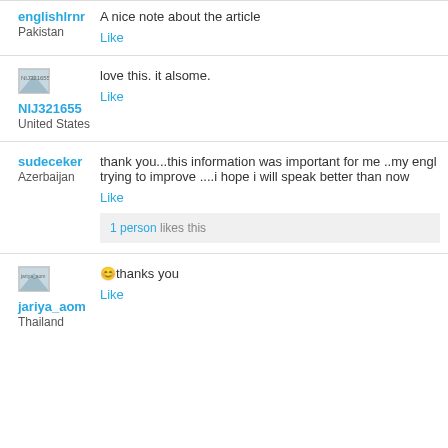A nice note about the article
englishlrnr
Pakistan
Like
[Figure (photo): NIJ321655 avatar image placeholder]
NIJ321655
United States
love this. it alsome.
Like
sudeceker
Azerbaijan
thank you...this information was important for me ..my engl trying to improve ....i hope i will speak better than now
Like
1 person likes this
[Figure (photo): jariya_aom avatar image placeholder]
jariya_aom
Thailand
😊 thanks you
Like